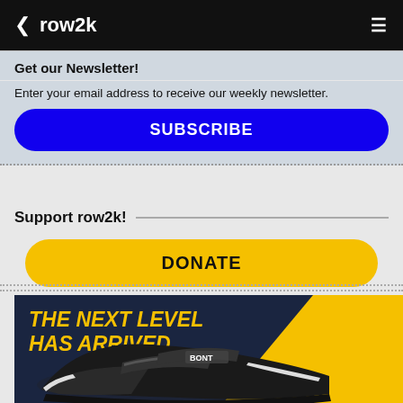row2k
Get our Newsletter!
Enter your email address to receive our weekly newsletter.
SUBSCRIBE
Support row2k!
DONATE
[Figure (photo): Advertisement banner for BONT rowing shoes with dark navy background, yellow triangle design, and text 'THE NEXT LEVEL HAS ARRIVED' in bold yellow italic lettering, with a black rowing shoe in the foreground.]